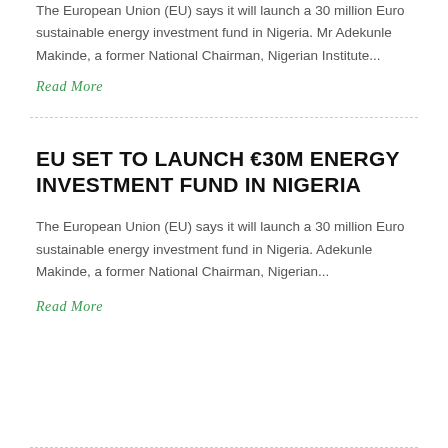The European Union (EU) says it will launch a 30 million Euro sustainable energy investment fund in Nigeria. Mr Adekunle Makinde, a former National Chairman, Nigerian Institute...
Read More
EU SET TO LAUNCH €30M ENERGY INVESTMENT FUND IN NIGERIA
The European Union (EU) says it will launch a 30 million Euro sustainable energy investment fund in Nigeria. Adekunle Makinde, a former National Chairman, Nigerian...
Read More